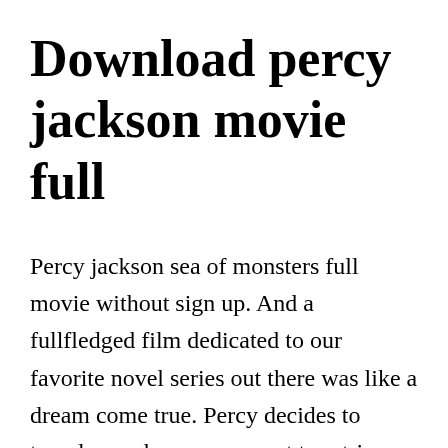Download percy jackson movie full
Percy jackson sea of monsters full movie without sign up. And a fullfledged film dedicated to our favorite novel series out there was like a dream come true. Percy decides to travel on a dangerous quest to retrieve the lightning bolt and save his mother. Online movie free percy jackson and the titans curse.